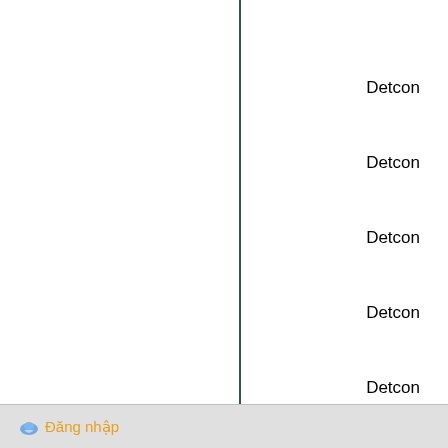Detcon
Detcon
Detcon
Detcon
Detcon
Detcon
Đăng nhập